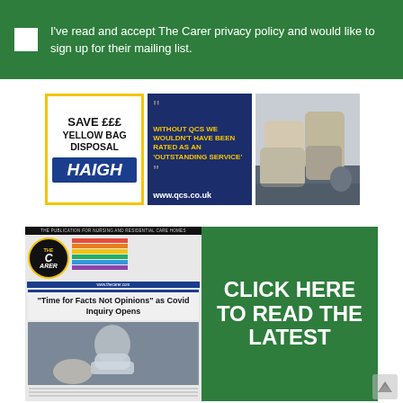I've read and accept The Carer privacy policy and would like to sign up for their mailing list.
[Figure (illustration): HAIGH yellow bag disposal advertisement with yellow border]
[Figure (illustration): QCS testimonial ad on dark blue background: WITHOUT QCS WE WOULDN'T HAVE BEEN RATED AS AN 'OUTSTANDING SERVICE' www.qcs.co.uk]
[Figure (photo): Photo of cushions/pillows on a sofa]
[Figure (illustration): The Carer magazine cover showing headline 'Time for Facts Not Opinions as Covid Inquiry Opens' alongside green banner reading CLICK HERE TO READ THE LATEST]